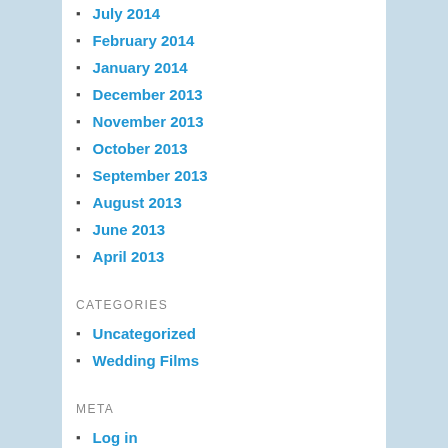July 2014
February 2014
January 2014
December 2013
November 2013
October 2013
September 2013
August 2013
June 2013
April 2013
CATEGORIES
Uncategorized
Wedding Films
META
Log in
Entries feed
Comments feed
WordPress.org